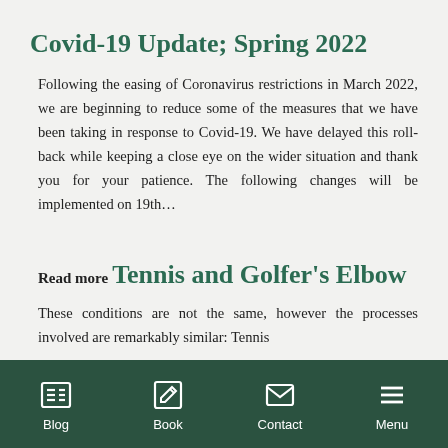Covid-19 Update; Spring 2022
Following the easing of Coronavirus restrictions in March 2022, we are beginning to reduce some of the measures that we have been taking in response to Covid-19. We have delayed this roll-back while keeping a close eye on the wider situation and thank you for your patience. The following changes will be implemented on 19th…
Read more
Tennis and Golfer's Elbow
These conditions are not the same, however the processes involved are remarkably similar: Tennis
Blog  Book  Contact  Menu